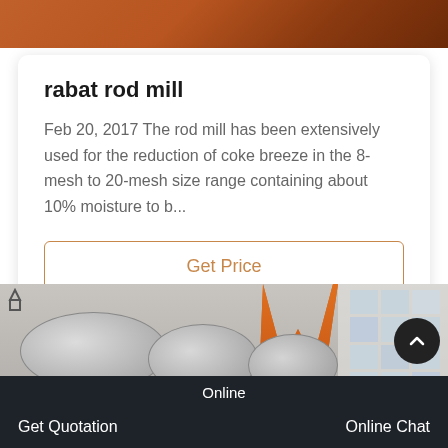[Figure (photo): Top portion of an industrial machinery or rod mill photo, showing orange/brown tones]
rabat rod mill
Feb 20, 2017 The rod mill has been extensively used for the reduction of coke breeze in the 8-mesh to 20-mesh size range containing about 10% moisture to b...
Get Price
[Figure (photo): Industrial ball mill equipment photograph, showing large cylindrical drums with orange W-shaped logo in background, white factory building visible]
Online  |  Get Quotation  |  Online Chat